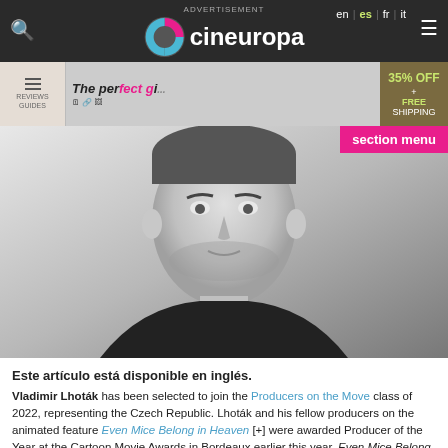cineuropa — en | es | fr | it
[Figure (photo): Black and white portrait photo of Vladimir Lhoták, a man with short hair and stubble, wearing a dark shirt, looking slightly off-camera.]
Este artículo está disponible en inglés.
Vladimir Lhoták has been selected to join the Producers on the Move class of 2022, representing the Czech Republic. Lhoták and his fellow producers on the animated feature Even Mice Belong in Heaven [+] were awarded Producer of the Year at the Cartoon Movie Awards in Bordeaux earlier this year. Even Mice Belong in Heaven is a major milestone in Lhoták's career, as it is not solely his animated feature producing debut but also the biggest and